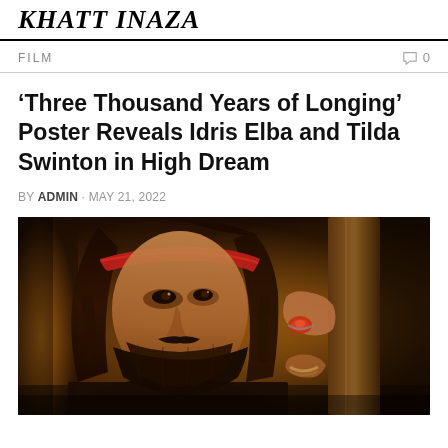Khatt Inaza
FILM
'Three Thousand Years of Longing' Poster Reveals Idris Elba and Tilda Swinton in High Dream
BY ADMIN · MAY 21, 2022
[Figure (photo): A bearded man with long dark hair and a red headband, holding what appears to be a stringed instrument, wearing a decorative ring. Warm amber/golden toned cinematic lighting.]